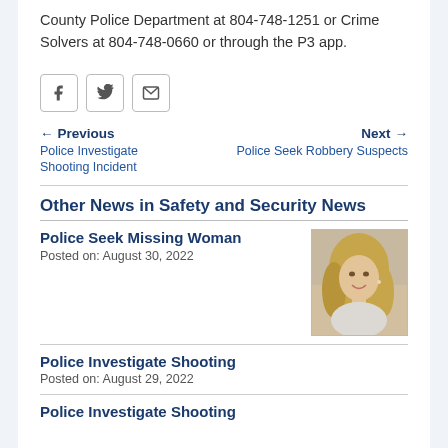County Police Department at 804-748-1251 or Crime Solvers at 804-748-0660 or through the P3 app.
[Figure (other): Social media sharing buttons for Facebook, Twitter, and Email]
← Previous
Police Investigate Shooting Incident
Next →
Police Seek Robbery Suspects
Other News in Safety and Security News
Police Seek Missing Woman
Posted on: August 30, 2022
[Figure (photo): Photo of a young woman with long blonde hair, smiling]
Police Investigate Shooting
Posted on: August 29, 2022
Police Investigate Shooting